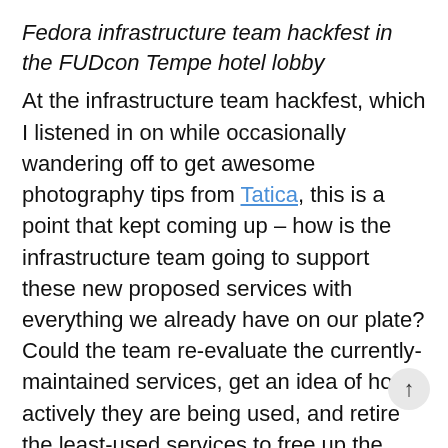Fedora infrastructure team hackfest in the FUDcon Tempe hotel lobby
At the infrastructure team hackfest, which I listened in on while occasionally wandering off to get awesome photography tips from Tatica, this is a point that kept coming up – how is the infrastructure team going to support these new proposed services with everything we already have on our plate? Could the team re-evaluate the currently-maintained services, get an idea of how actively they are being used, and retire the least-used services to free up the team's time to better maintain the most actively-used serv. and clear a path for taking on more new and